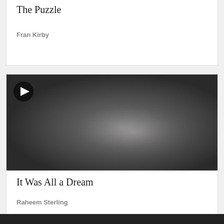The Puzzle
Fran Kirby
[Figure (photo): Dark blurred thumbnail image with a play button in the top-left corner, serving as a video thumbnail]
It Was All a Dream
Raheem Sterling